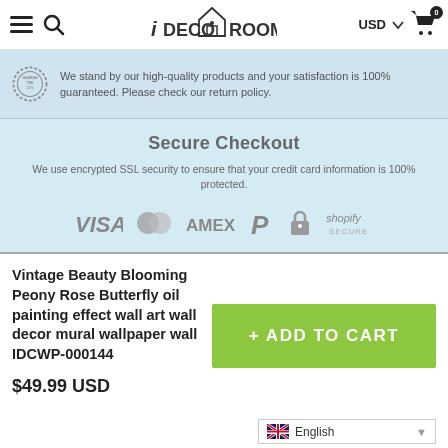iDECOROOM — Navigation bar with USD currency and cart
We stand by our high-quality products and your satisfaction is 100% guaranteed. Please check our return policy.
Secure Checkout
We use encrypted SSL security to ensure that your credit card information is 100% protected.
[Figure (logo): Payment method logos: VISA, Mastercard, AMEX, PayPal, lock icon, Shopify Secure]
Vintage Beauty Blooming Peony Rose Butterfly oil painting effect wall art wall decor mural wallpaper wall IDCWP-000144
$49.99 USD
+ ADD TO CART
English